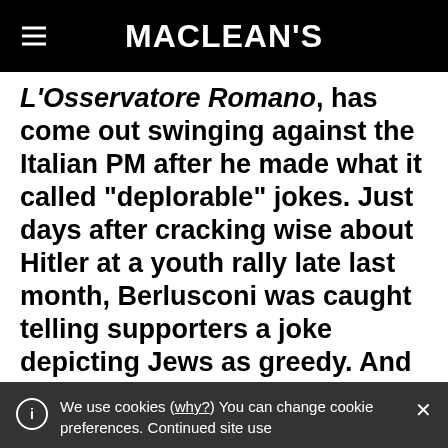MACLEAN'S
L'Osservatore Romano, has come out swinging against the Italian PM after he made what it called “deplorable” jokes. Just days after cracking wise about Hitler at a youth rally late last month, Berlusconi was caught telling supporters a joke depicting Jews as greedy. And video emerged of an earlier incident in which the PM poked fun at the appearance of an opposition MP with a joke that used a famous Italian curse as a punchline. Berlusconi has responded to his
We use cookies (why?) You can change cookie preferences. Continued site use